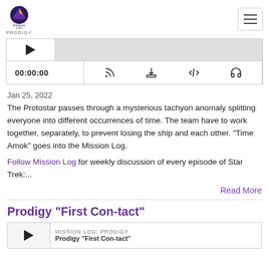Mission Log Prodigy — navigation header with logo and hamburger menu
[Figure (screenshot): Podcast audio player widget with play button thumbnail, waveform area, timestamp 00:00:00, and icons for RSS, download, embed code, and headphones]
Jan 25, 2022
The Protostar passes through a mysterious tachyon anomaly splitting everyone into different occurrences of time. The team have to work together, separately, to prevent losing the ship and each other. "Time Amok" goes into the Mission Log.
Follow Mission Log for weekly discussion of every episode of Star Trek:...
Read More
Prodigy "First Con-tact"
[Figure (screenshot): Podcast player thumbnail for Prodigy First Con-tact episode with MISSION LOG: PRODIGY label and play button]